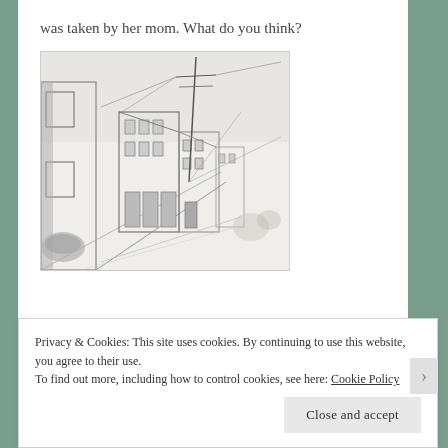was taken by her mom. What do you think?
[Figure (illustration): Pencil sketch of a street scene with buildings, utility poles, and wires. The drawing shows a perspective view down a street with old-style storefronts on the right side and part of a building on the left.]
Privacy & Cookies: This site uses cookies. By continuing to use this website, you agree to their use.
To find out more, including how to control cookies, see here: Cookie Policy
Close and accept